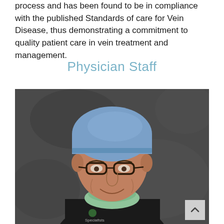process and has been found to be in compliance with the published Standards of care for Vein Disease, thus demonstrating a commitment to quality patient care in vein treatment and management.
Physician Staff
[Figure (photo): Professional portrait of a male physician wearing a blue surgical cap, glasses, black scrubs with a clinic logo, and a green surgical mask pulled down around his neck. Photo has a dark grey mottled background.]